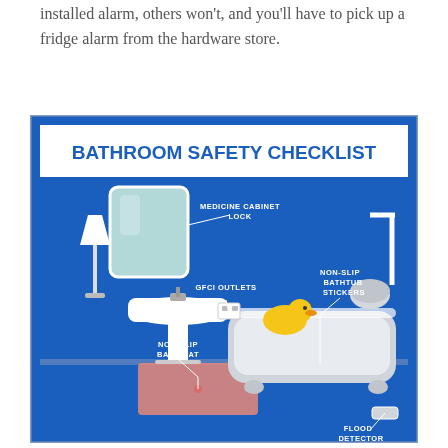installed alarm, others won't, and you'll have to pick up a fridge alarm from the hardware store.
[Figure (infographic): Bathroom Safety Checklist infographic showing a bathroom scene with labeled safety items: Medicine Cabinet Lock, GFCI Outlets, Non-Slip Bath Mat, Non-Slip Bathtub Stickers, Flood Detector. Scene includes a pedestal sink, mirror, bathtub with rubber duck, shower, and bath mat.]